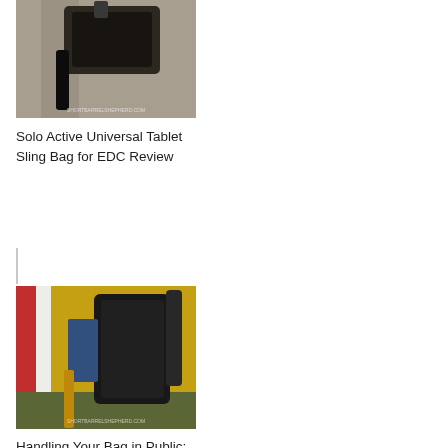[Figure (photo): Photo of a bag/tablet sling bag with watermark SHORTBARRELSHEPHERD.COM]
Solo Active Universal Tablet Sling Bag for EDC Review
[Figure (photo): Photo of a black bag strapped to a yellow chair in a public setting with watermark SHORTBARRELSHEPHERD.COM]
Handling Your Bag in Public: Strapped
[Figure (photo): Partially visible dark/black photo with text 'ssons-Learned Fro...' visible at bottom]